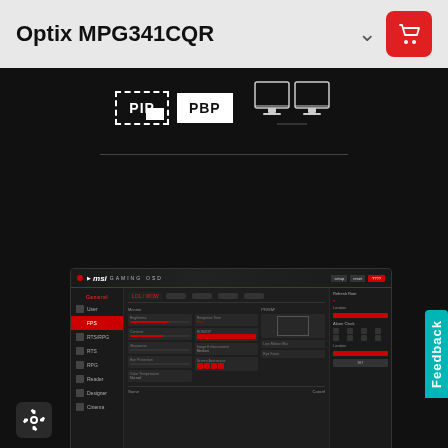Optix MPG341CQR
[Figure (screenshot): PIP PBP mode icons with monitor illustration showing dual-screen setup]
[Figure (screenshot): MSI Gaming OSD software interface screenshot showing monitor settings panel with FPS menu selected]
Feedback